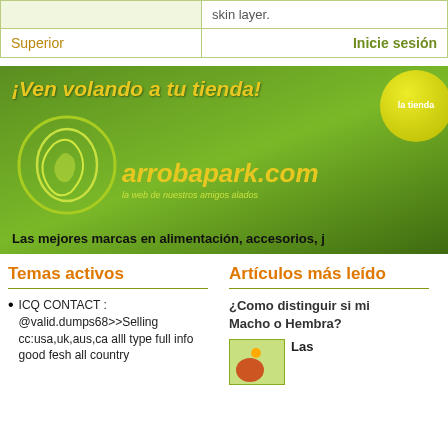|  | skin layer. |
| --- | --- |
| Superior | Inicie sesión |
[Figure (illustration): Advertisement banner for arrobapark.com with green background, yellow logo circle, text '¡Ven volando a tu tienda!', site name 'arrobapark.com', subtitle 'la web de nuestros amigos alados', yellow ball with 'la tienda' text, and bottom text 'Las mejores marcas en alimentación, accesorios, j...']
Temas activos
Artículos más leído
ICQ CONTACT : @valid.dumps68>>Selling cc:usa,uk,aus,ca alll type full info good fesh all country
¿Como distinguir si mi Macho o Hembra?
Las